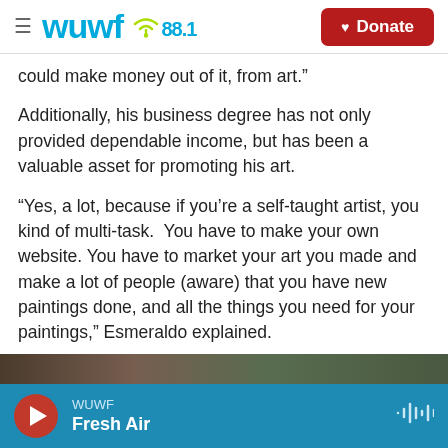wuwf 88.1 | Donate
could make money out of it, from art.”
Additionally, his business degree has not only provided dependable income, but has been a valuable asset for promoting his art.
“Yes, a lot, because if you’re a self-taught artist, you kind of multi-task.  You have to make your own website. You have to market your art you made and make a lot of people (aware) that you have new paintings done, and all the things you need for your paintings,” Esmeraldo explained.
[Figure (photo): Partial image strip visible at bottom of content area]
WUWF Fresh Air